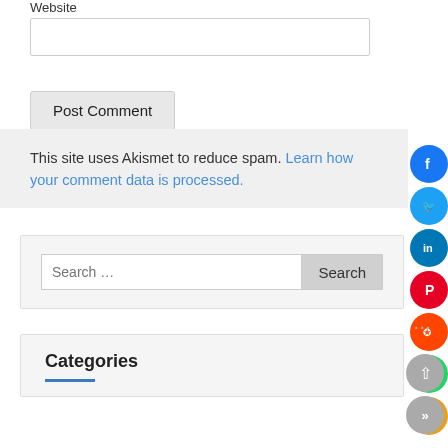Website
[Figure (screenshot): Website input text field (empty)]
[Figure (screenshot): Post Comment button]
This site uses Akismet to reduce spam. Learn how your comment data is processed.
[Figure (screenshot): Search bar with Search button inside gray box]
Categories
[Figure (infographic): Social sharing icons on the right side: Facebook, Twitter, LinkedIn, Pinterest, Reddit, WhatsApp, Email]